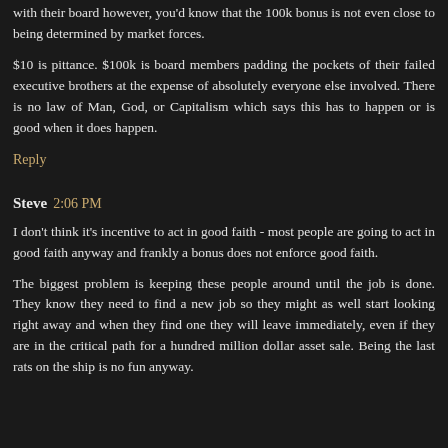with their board however, you'd know that the 100k bonus is not even close to being determined by market forces.
$10 is pittance. $100k is board members padding the pockets of their failed executive brothers at the expense of absolutely everyone else involved. There is no law of Man, God, or Capitalism which says this has to happen or is good when it does happen.
Reply
Steve 2:06 PM
I don't think it's incentive to act in good faith - most people are going to act in good faith anyway and frankly a bonus does not enforce good faith.
The biggest problem is keeping these people around until the job is done. They know they need to find a new job so they might as well start looking right away and when they find one they will leave immediately, even if they are in the critical path for a hundred million dollar asset sale. Being the last rats on the ship is no fun anyway.